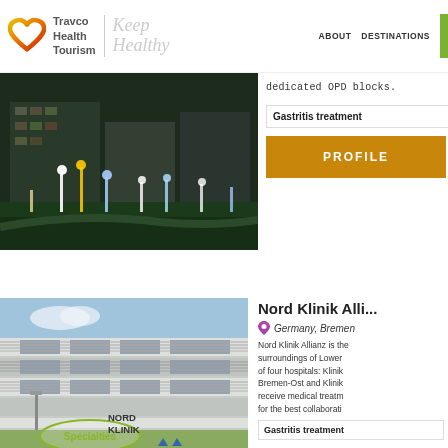Travco Health Tourism | Keep Healthy | ABOUT DESTINATIONS
[Figure (photo): Aerial night view of a hospital complex with illuminated light pillars and green landscaping]
dedicated OPD blocks.
Gastritis treatment
PROFILE
Nord Klinik Alli...
Germany, Bremen
Nord Klinik Allianz is the surroundings of Lower of four hospitals: Klinik Bremen-Ost and Klinik receive medical treatm for the best collaborati
Gastritis treatment
[Figure (photo): Modern hospital building with large glass facade and horizontal louvers, Nord Klinik]
NORD KLINIK